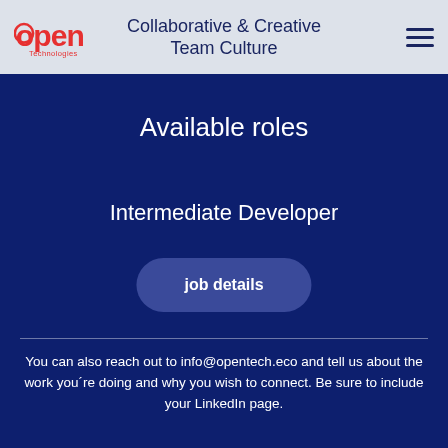[Figure (logo): Open Technologies logo - red stylized 'open' wordmark with 'Technologies' text below]
Collaborative & Creative Team Culture
Available roles
Intermediate Developer
job details
You can also reach out to info@opentech.eco and tell us about the work you´re doing and why you wish to connect. Be sure to include your LinkedIn page.